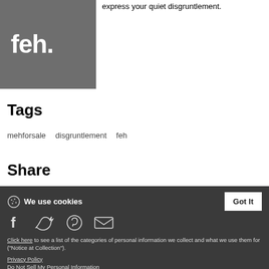express your quiet disgruntlement.
[Figure (illustration): Gray square with white bold text reading 'feh.']
Tags
mehforsale   disgruntlement   feh
Share
We use cookies
[Figure (infographic): Social share icons: Facebook, Twitter, Pinterest, Email]
Click here to see a list of the categories of personal information we collect and what we use them for ("Notice at Collection").
Privacy Policy
Do Not Sell My Personal Information
By using this website, I agree to the Terms and Conditions